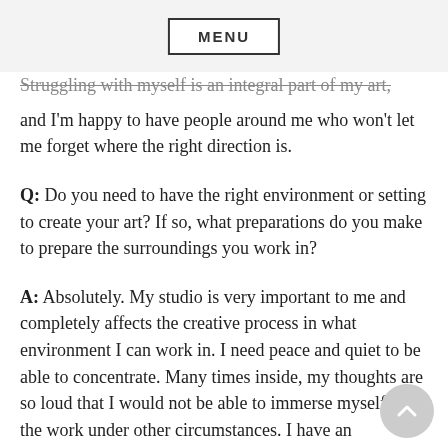MENU
learned a tremendous learning how I can love who I truly am. This is an interesting progress I think.
Struggling with myself is an integral part of my art, and I'm happy to have people around me who won't let me forget where the right direction is.
Q: Do you need to have the right environment or setting to create your art? If so, what preparations do you make to prepare the surroundings you work in?
A: Absolutely. My studio is very important to me and completely affects the creative process in what environment I can work in. I need peace and quiet to be able to concentrate. Many times inside, my thoughts are so loud that I would not be able to immerse myself in the work under other circumstances. I have an interesting own little chaos in my atelier. I love every single splashes on the floor, the daubles, etc. I love every…